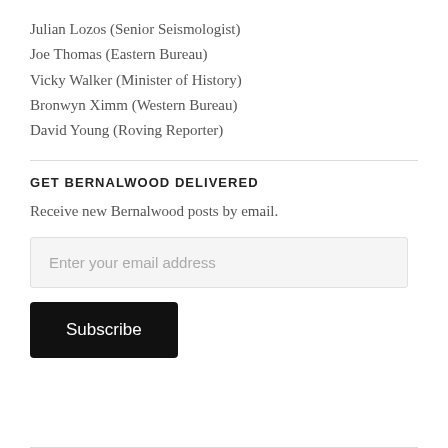Julian Lozos (Senior Seismologist)
Joe Thomas (Eastern Bureau)
Vicky Walker (Minister of History)
Bronwyn Ximm (Western Bureau)
David Young (Roving Reporter)
GET BERNALWOOD DELIVERED
Receive new Bernalwood posts by email.
Enter your email address
Subscribe